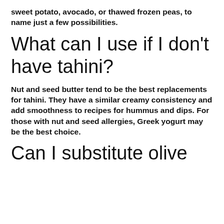sweet potato, avocado, or thawed frozen peas, to name just a few possibilities.
What can I use if I don't have tahini?
Nut and seed butter tend to be the best replacements for tahini. They have a similar creamy consistency and add smoothness to recipes for hummus and dips. For those with nut and seed allergies, Greek yogurt may be the best choice.
Can I substitute olive